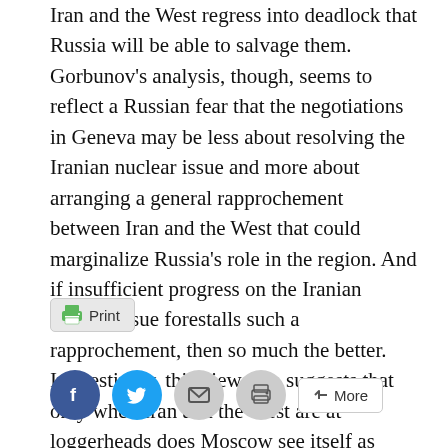Iran and the West regress into deadlock that Russia will be able to salvage them. Gorbunov's analysis, though, seems to reflect a Russian fear that the negotiations in Geneva may be less about resolving the Iranian nuclear issue and more about arranging a general rapprochement between Iran and the West that could marginalize Russia's role in the region. And if insufficient progress on the Iranian nuclear issue forestalls such a rapprochement, then so much the better. Interestingly, this view also suggests that only when Iran and the West are at loggerheads does Moscow see itself as having leverage over them both.
[Figure (other): Print button with printer icon]
[Figure (other): Social share bar with Facebook, Twitter, email, print, and More buttons]